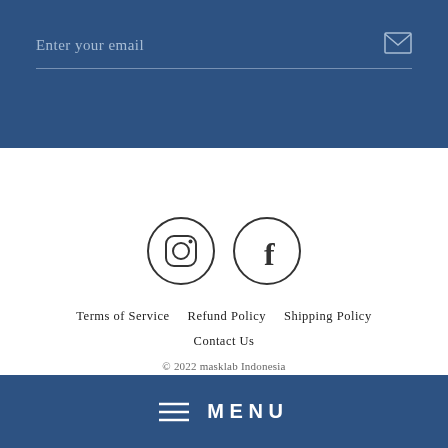Enter your email
[Figure (other): Social media icons: Instagram circle icon and Facebook circle icon]
Terms of Service
Refund Policy
Shipping Policy
Contact Us
© 2022 masklab Indonesia
MENU